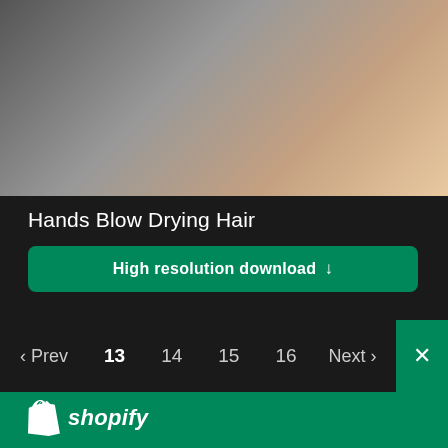[Figure (photo): Blurred photograph showing hands blow drying hair, dark background with skin tones]
Hands Blow Drying Hair
High resolution download ↓
‹ Prev  13  14  15  16  Next ›
[Figure (logo): Shopify logo with shopping bag icon and italic shopify text in white on green background]
Need an online store for your business?
Start free trial